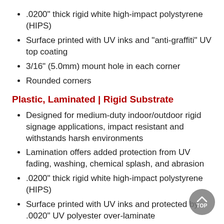.0200" thick rigid white high-impact polystyrene (HIPS)
Surface printed with UV inks and "anti-graffiti" UV top coating
3/16" (5.0mm) mount hole in each corner
Rounded corners
Plastic, Laminated | Rigid Substrate
Designed for medium-duty indoor/outdoor rigid signage applications, impact resistant and withstands harsh environments
Lamination offers added protection from UV fading, washing, chemical splash, and abrasion
.0200" thick rigid white high-impact polystyrene (HIPS)
Surface printed with UV inks and protected by .0020" UV polyester over-laminate
3/16" (5.0mm) mount hole in each corner